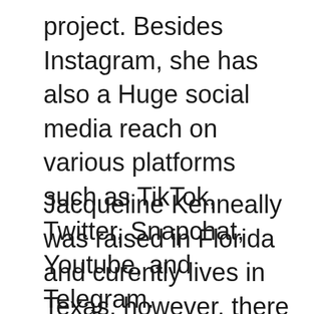project. Besides Instagram, she has also a Huge social media reach on various platforms such as TikTok, Twitter, Snapchat, Youtube, and Telegram.
Jacqueline Kenneally was raised in Florida and curently lives in Texas, however, there is little information about the location she lived in earlier. Also, she likes to travel quite sometimes, and her favorite location in the USA,